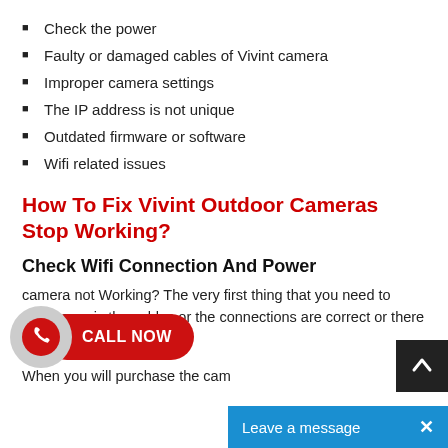Check the power
Faulty or damaged cables of Vivint camera
Improper camera settings
The IP address is not unique
Outdated firmware or software
Wifi related issues
How To Fix Vivint Outdoor Cameras Stop Working?
Check Wifi Connection And Power
camera not Working? The very first thing that you need to make sure is the cables or the connections are correct or there is something wrong
When you will purchase the cam